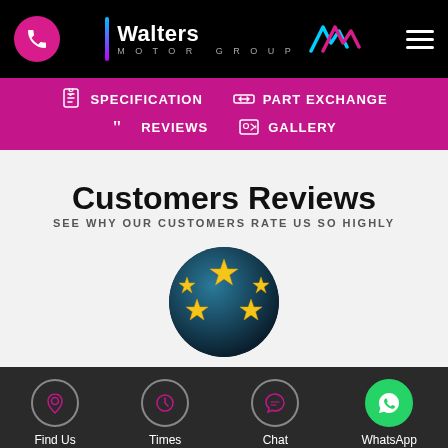[Figure (screenshot): Walters Motor Group website header with phone icon, logo, and hamburger menu on black background]
[Figure (infographic): Pink navigation bar with Specification, Part Exchange, Reviews, and Gallery options with icons]
Customers Reviews
SEE WHY OUR CUSTOMERS RATE US SO HIGHLY
[Figure (photo): Circular image showing five gold stars against a dark blue/teal glowing background]
[Figure (infographic): Dark footer bar with Find Us, Times, Chat, and WhatsApp navigation icons]